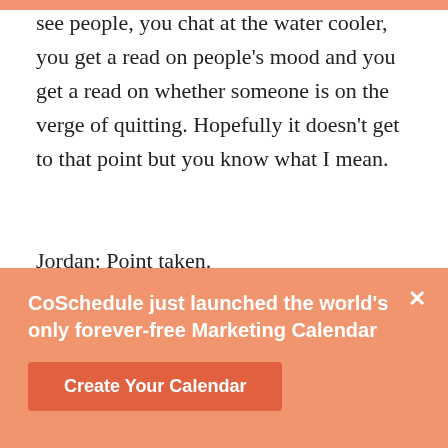see people, you chat at the water cooler, you get a read on people's mood and you get a read on whether someone is on the verge of quitting. Hopefully it doesn't get to that point but you know what I mean.
Jordan: Point taken.
Sandra: So when it's remote, you can't see them. So you have to really be attuned to over communicating. And then by over communicating,
CoSchedcule just launched the world's only forever-free Marketing Calendar
Create Your Calendar